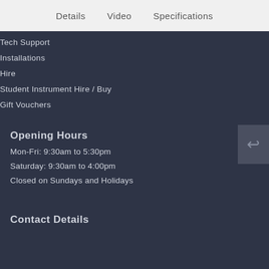Details   Video   Specifications
Tech Support
Installations
Hire
Student Instrument Hire / Buy
Gift Vouchers
Opening Hours
Mon-Fri: 9:30am to 5:30pm
Saturday: 9:30am to 4:00pm
Closed on Sundays and Holidays
Contact Details